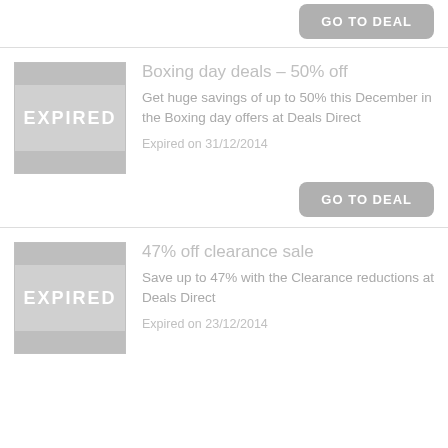GO TO DEAL
[Figure (other): Expired deal thumbnail placeholder with EXPIRED label]
Boxing day deals – 50% off
Get huge savings of up to 50% this December in the Boxing day offers at Deals Direct
Expired on 31/12/2014
GO TO DEAL
[Figure (other): Expired deal thumbnail placeholder with EXPIRED label]
47% off clearance sale
Save up to 47% with the Clearance reductions at Deals Direct
Expired on 23/12/2014